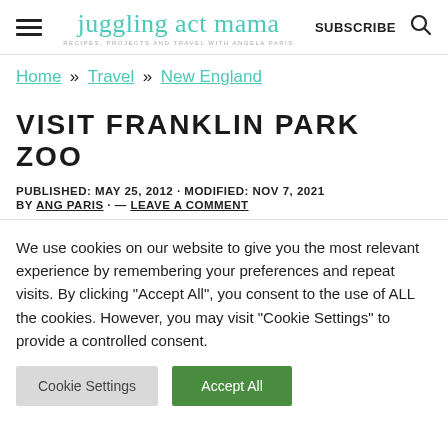juggling act mama — RECIPES, PROJECTS AND TRAVEL WITH ANGELA PARIS | SUBSCRIBE
Home » Travel » New England
VISIT FRANKLIN PARK ZOO
PUBLISHED: MAY 25, 2012 · MODIFIED: NOV 7, 2021 BY ANG PARIS · — LEAVE A COMMENT
We use cookies on our website to give you the most relevant experience by remembering your preferences and repeat visits. By clicking "Accept All", you consent to the use of ALL the cookies. However, you may visit "Cookie Settings" to provide a controlled consent.
Cookie Settings | Accept All